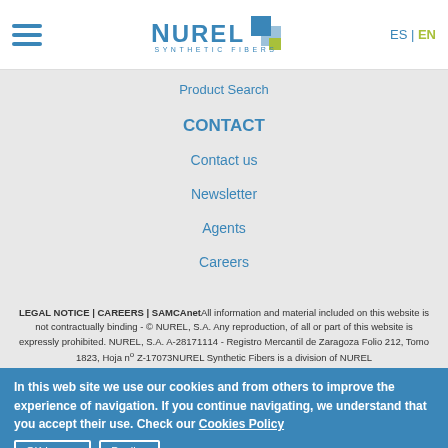[Figure (logo): NUREL Synthetic Fibers logo with hamburger menu icon and ES|EN language switcher]
Product Search
CONTACT
Contact us
Newsletter
Agents
Careers
LEGAL NOTICE | CAREERS | SAMCAnetAll information and material included on this website is not contractually binding - © NUREL, S.A. Any reproduction, of all or part of this website is expressly prohibited. NUREL, S.A. A-28171114 - Registro Mercantil de Zaragoza Folio 212, Tomo 1823, Hoja nº Z-17073NUREL Synthetic Fibers is a division of NUREL
In this web site we use our cookies and from others to improve the experience of navigation. If you continue navigating, we understand that you accept their use. Check our Cookies Policy